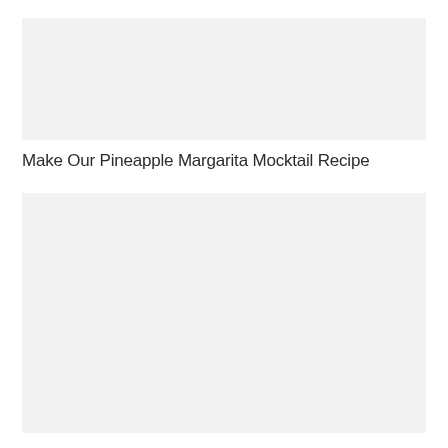[Figure (photo): Top image placeholder - light gray rectangle]
Make Our Pineapple Margarita Mocktail Recipe
[Figure (photo): Bottom image placeholder - light gray rectangle]